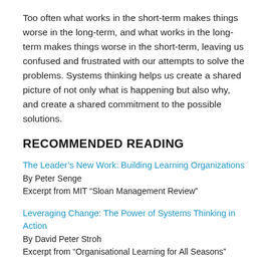Too often what works in the short-term makes things worse in the long-term, and what works in the long-term makes things worse in the short-term, leaving us confused and frustrated with our attempts to solve the problems. Systems thinking helps us create a shared picture of not only what is happening but also why, and create a shared commitment to the possible solutions.
RECOMMENDED READING
The Leader's New Work: Building Learning Organizations
By Peter Senge
Excerpt from MIT “Sloan Management Review”
Leveraging Change: The Power of Systems Thinking in Action
By David Peter Stroh
Excerpt from “Organisational Learning for All Seasons”
The Dawn of Systems Leadership